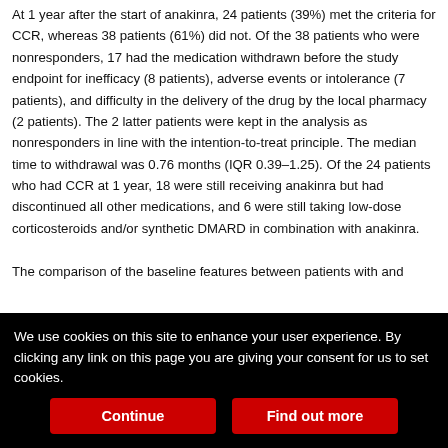At 1 year after the start of anakinra, 24 patients (39%) met the criteria for CCR, whereas 38 patients (61%) did not. Of the 38 patients who were nonresponders, 17 had the medication withdrawn before the study endpoint for inefficacy (8 patients), adverse events or intolerance (7 patients), and difficulty in the delivery of the drug by the local pharmacy (2 patients). The 2 latter patients were kept in the analysis as nonresponders in line with the intention-to-treat principle. The median time to withdrawal was 0.76 months (IQR 0.39–1.25). Of the 24 patients who had CCR at 1 year, 18 were still receiving anakinra but had discontinued all other medications, and 6 were still taking low-dose corticosteroids and/or synthetic DMARD in combination with anakinra.

The comparison of the baseline features between patients with and
We use cookies on this site to enhance your user experience. By clicking any link on this page you are giving your consent for us to set cookies.